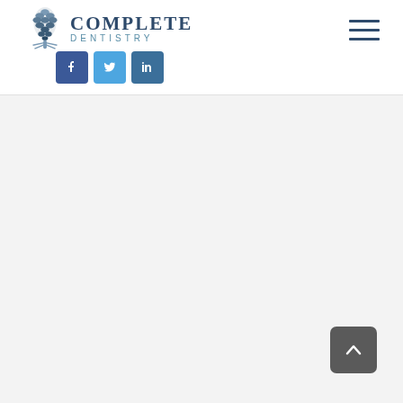[Figure (logo): Complete Dentistry logo with pine cone graphic and text 'COMPLETE DENTISTRY']
[Figure (other): Hamburger menu icon (three horizontal lines) in top right corner]
[Figure (other): Three social media icon buttons: Facebook (dark blue), Twitter (light blue), LinkedIn (medium blue)]
[Figure (other): Scroll-to-top button (dark gray rounded square with upward chevron arrow) in bottom right corner]